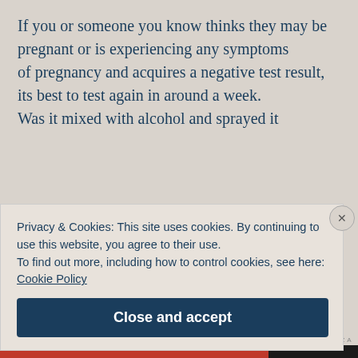If you or someone you know thinks they may be pregnant or is experiencing any symptoms of pregnancy and acquires a negative test result, its best to test again in around a week. Was it mixed with alcohol and sprayed it
Privacy & Cookies: This site uses cookies. By continuing to use this website, you agree to their use. To find out more, including how to control cookies, see here: Cookie Policy
Close and accept